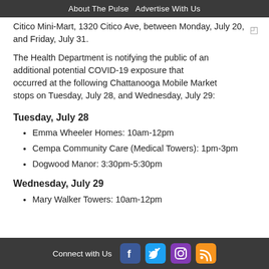About The Pulse  Advertise With Us
Citico Mini-Mart, 1320 Citico Ave, between Monday, July 20, and Friday, July 31.
The Health Department is notifying the public of an additional potential COVID-19 exposure that occurred at the following Chattanooga Mobile Market stops on Tuesday, July 28, and Wednesday, July 29:
Tuesday, July 28
Emma Wheeler Homes: 10am-12pm
Cempa Community Care (Medical Towers): 1pm-3pm
Dogwood Manor: 3:30pm-5:30pm
Wednesday, July 29
Mary Walker Towers: 10am-12pm
Connect with Us